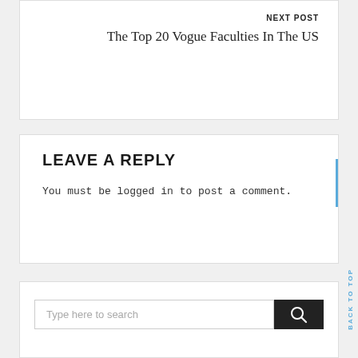NEXT POST
The Top 20 Vogue Faculties In The US
LEAVE A REPLY
You must be logged in to post a comment.
Type here to search
BACK TO TOP